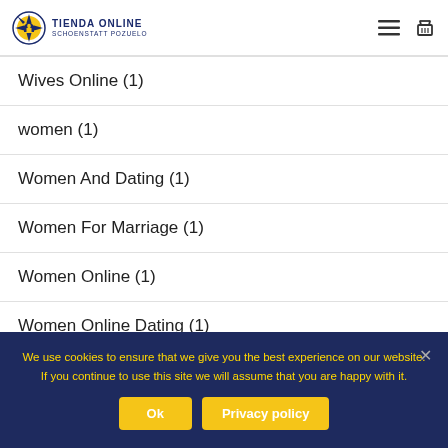[Figure (logo): Tienda Online Schoenstatt Pozuelo logo with sun/compass icon in blue and yellow]
Wives Online (1)
women (1)
Women And Dating (1)
Women For Marriage (1)
Women Online (1)
Women Online Dating (1)
WooCasino.Pl (1)
We use cookies to ensure that we give you the best experience on our website. If you continue to use this site we will assume that you are happy with it.